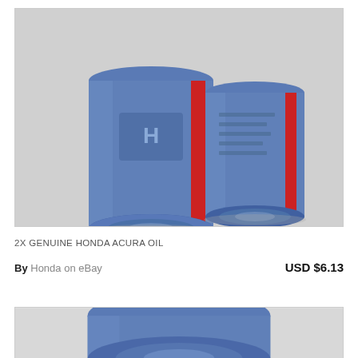[Figure (photo): Two Honda/Acura oil filters wrapped in blue plastic, standing upright on a grey surface, viewed from the bottom.]
2X GENUINE HONDA ACURA OIL
By Honda on eBay    USD $6.13
[Figure (photo): Partial image of another Honda/Acura oil filter wrapped in blue plastic, viewed from the bottom, partially cut off at the bottom of the page.]